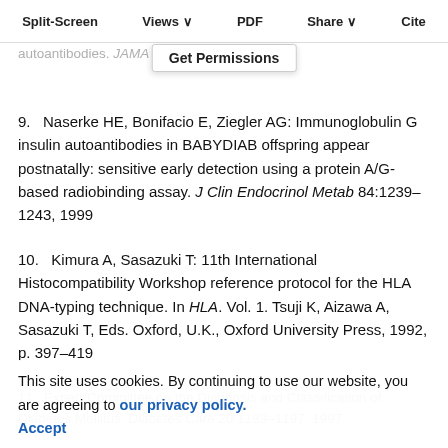Split-Screen  Views  PDF  Share  Cite  Get Permissions
8.  Ziegler AG, Schmid S, Huber D, Hummel M, Bonifacio E: Early infant feeding and risk of developing type 1 diabetes-associated autoantibodies. JAMA 290:1721–1728, 2003
9.  Naserke HE, Bonifacio E, Ziegler AG: Immunoglobulin G insulin autoantibodies in BABYDIAB offspring appear postnatally: sensitive early detection using a protein A/G-based radiobinding assay. J Clin Endocrinol Metab 84:1239–1243, 1999
10.  Kimura A, Sasazuki T: 11th International Histocompatibility Workshop reference protocol for the HLA DNA-typing technique. In HLA. Vol. 1. Tsuji K, Aizawa A, Sasazuki T, Eds. Oxford, U.K., Oxford University Press, 1992, p. 397–419
11.  Expert Committee on the Diagnosis and Classification of Diabetes Mellitus. Diabetes Care 20:1183–1197, 1997
This site uses cookies. By continuing to use our website, you are agreeing to our privacy policy. Accept